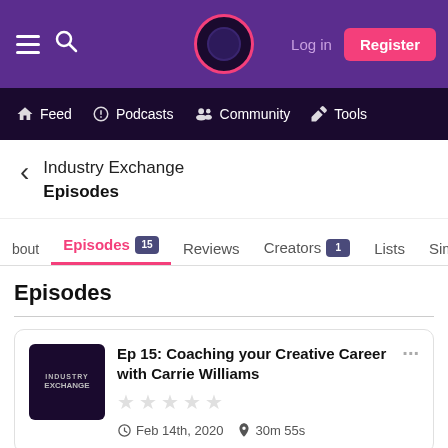Log in | Register | Feed | Podcasts | Community | Tools
Industry Exchange
Episodes
About | Episodes 15 | Reviews | Creators 1 | Lists | Simil...
Episodes
Ep 15: Coaching your Creative Career with Carrie Williams
Feb 14th, 2020  30m 55s